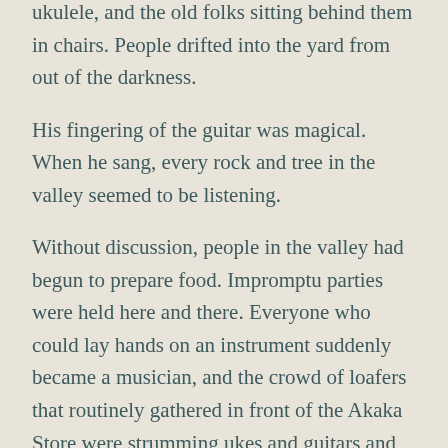ukulele, and the old folks sitting behind them in chairs. People drifted into the yard from out of the darkness.
His fingering of the guitar was magical. When he sang, every rock and tree in the valley seemed to be listening.
Without discussion, people in the valley had begun to prepare food. Impromptu parties were held here and there. Everyone who could lay hands on an instrument suddenly became a musician, and the crowd of loafers that routinely gathered in front of the Akaka Store were strumming ukes and guitars and bursting into song.
Two couples who had been thinking about getting married seized the moment. The musician and the local orchestra that had spontaneously sprung up around him offered music for the weddings and the three day party that followed.